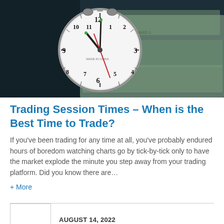[Figure (photo): Alarm clock resting on US dollar bills, teal/dark toned photo.]
Trading Session Times – When is the Best Time to Trade?
If you've been trading for any time at all, you've probably endured hours of boredom watching charts go by tick-by-tick only to have the market explode the minute you step away from your trading platform. Did you know there are…
+ More
AUGUST 14, 2022
Indicator Warehouse